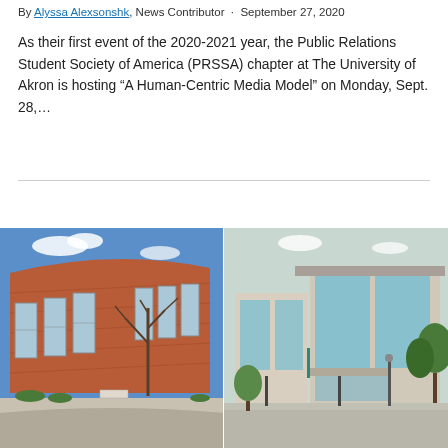By Alyssa Alexsonshk, News Contributor · September 27, 2020
As their first event of the 2020-2021 year, the Public Relations Student Society of America (PRSSA) chapter at The University of Akron is hosting “A Human-Centric Media Model” on Monday, Sept. 28,...
[Figure (photo): Two side-by-side photos of university buildings at The University of Akron. Left photo shows a curved brick building with tall windows and bare trees against a blue sky. Right photo shows a modern glass and stone building with green signage and trees.]